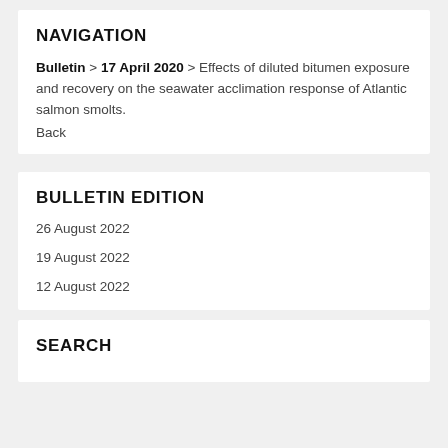NAVIGATION
Bulletin > 17 April 2020 > Effects of diluted bitumen exposure and recovery on the seawater acclimation response of Atlantic salmon smolts.
Back
BULLETIN EDITION
26 August 2022
19 August 2022
12 August 2022
SEARCH